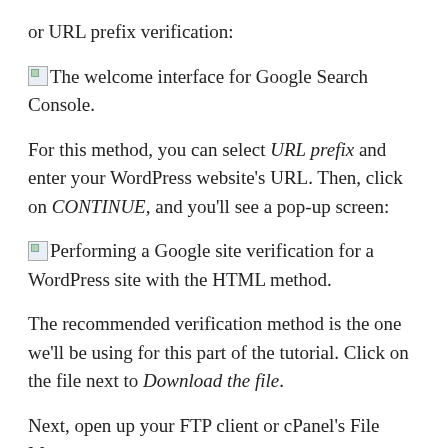or URL prefix verification:
The welcome interface for Google Search Console.
For this method, you can select URL prefix and enter your WordPress website's URL. Then, click on CONTINUE, and you'll see a pop-up screen:
Performing a Google site verification for a WordPress site with the HTML method.
The recommended verification method is the one we'll be using for this part of the tutorial. Click on the file next to Download the file.
Next, open up your FTP client or cPanel's File Manager